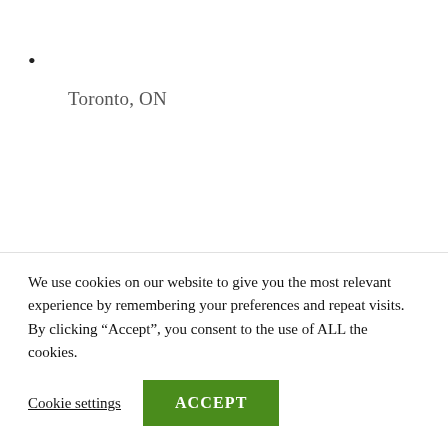•
Toronto, ON
•
Permanent
We use cookies on our website to give you the most relevant experience by remembering your preferences and repeat visits. By clicking “Accept”, you consent to the use of ALL the cookies.
Cookie settings
ACCEPT